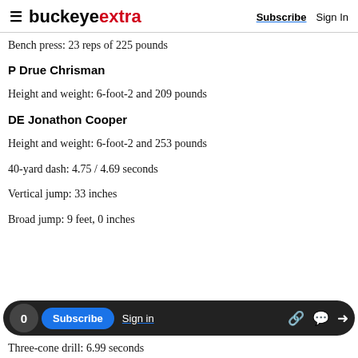buckeyextra  Subscribe  Sign In
Bench press: 23 reps of 225 pounds
P Drue Chrisman
Height and weight: 6-foot-2 and 209 pounds
DE Jonathon Cooper
Height and weight: 6-foot-2 and 253 pounds
40-yard dash: 4.75 / 4.69 seconds
Vertical jump: 33 inches
Broad jump: 9 feet, 0 inches
Three-cone drill: 6.99 seconds